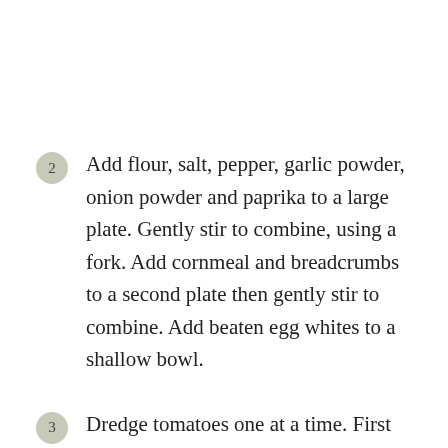2 Add flour, salt, pepper, garlic powder, onion powder and paprika to a large plate. Gently stir to combine, using a fork. Add cornmeal and breadcrumbs to a second plate then gently stir to combine. Add beaten egg whites to a shallow bowl.
3 Dredge tomatoes one at a time. First shake off any excess buttermilk. Next dredge in seasoned flour, shaking off excess. Then dip into egg whites, making sure it's completely covered. Finally...